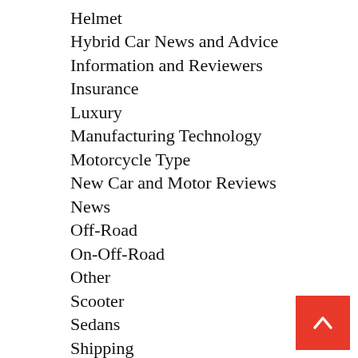Helmet
Hybrid Car News and Advice
Information and Reviewers
Insurance
Luxury
Manufacturing Technology
Motorcycle Type
New Car and Motor Reviews
News
Off-Road
On-Off-Road
Other
Scooter
Sedans
Shipping
Sport-Touring
Sportbikes
Sporty
Standard